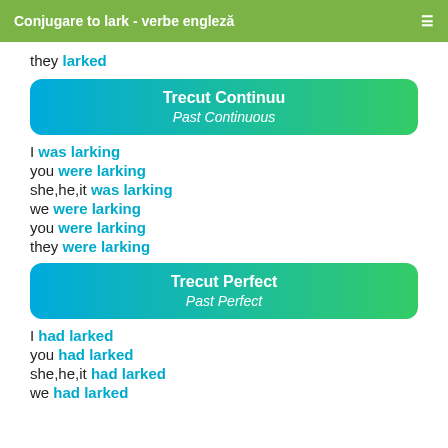Conjugare to lark - verbe engleză
they larked
Trecut Continuu
Past Continuous
I was larking
you were larking
she,he,it was larking
we were larking
you were larking
they were larking
Trecut Perfect
Past Perfect
I had larked
you had larked
she,he,it had larked
we had larked